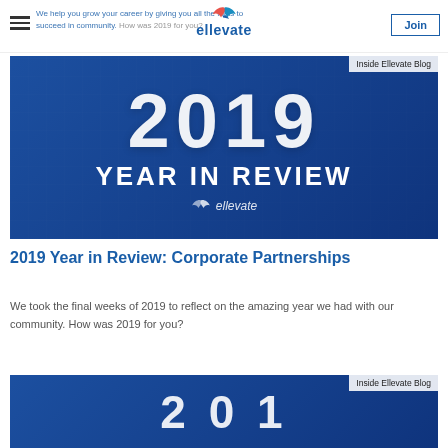ellevate — Join
We took the final weeks of 2019 to reflect on the amazing year we had with our community. How was 2019 for you?
[Figure (illustration): Blue background image with large white '2019' text and bold 'YEAR IN REVIEW' text, with Ellevate logo. Labeled 'Inside Ellevate Blog'.]
2019 Year in Review: Corporate Partnerships
We took the final weeks of 2019 to reflect on the amazing year we had with our community. How was 2019 for you?
[Figure (illustration): Partial blue image showing bottom of another '2019 Year in Review' card. Labeled 'Inside Ellevate Blog'.]